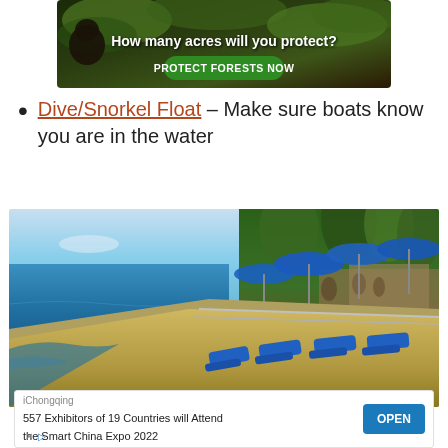[Figure (illustration): Advertisement banner with dark forest/nature background showing a monkey, text 'How many acres will you protect?' with a green 'PROTECT FORESTS NOW' button]
Dive/Snorkel Float – Make sure boats know you are in the water
[Figure (photo): Beach resort photo showing blue lounge chairs on a stone pier/walkway next to the ocean, with blue umbrellas and tropical trees on the right side, people visible in background]
[Figure (other): Advertisement banner: iChongqing - '557 Exhibitors of 19 Countries will Attend the Smart China Expo 2022' with an OPEN button]